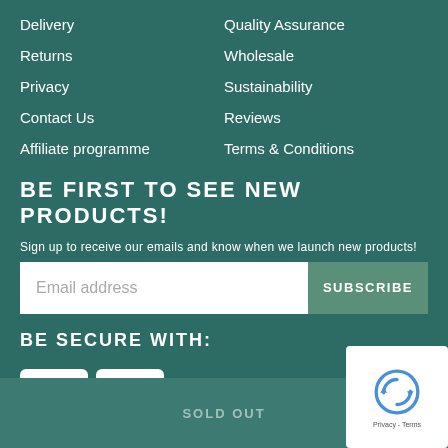Delivery
Quality Assurance
Returns
Wholesale
Privacy
Sustainability
Contact Us
Reviews
Affiliate programme
Terms & Conditions
BE FIRST TO SEE NEW PRODUCTS!
Sign up to receive our emails and know when we launch new products!
Email address
SUBSCRIBE
BE SECURE WITH:
[Figure (logo): Mastercard and Visa payment card logos]
SOLD OUT